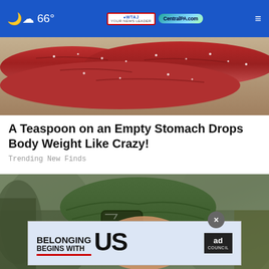66° WTAJ CentralPA.com
[Figure (photo): Close-up photo of red sausages or meat with salt/spices on a plate, warm reddish tones]
A Teaspoon on an Empty Stomach Drops Body Weight Like Crazy!
Trending New Finds
[Figure (photo): Close-up photo of a soldier wearing green camouflage helmet and tactical goggles, looking upward]
[Figure (other): Ad banner: BELONGING BEGINS WITH US - Ad Council advertisement]